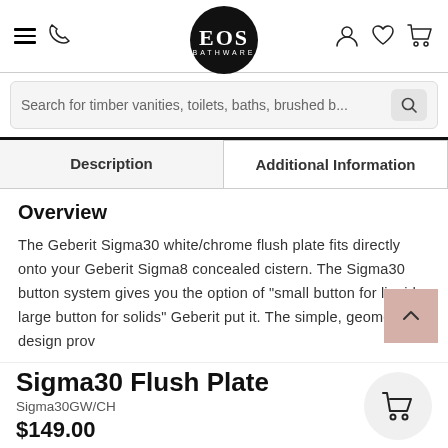EOS BATHWARE navigation header with hamburger menu, phone icon, logo, user icon, wishlist icon, cart icon
Search for timber vanities, toilets, baths, brushed b...
Description | Additional Information
Overview
The Geberit Sigma30 white/chrome flush plate fits directly onto your Geberit Sigma8 concealed cistern. The Sigma30 button system gives you the option of "small button for liquids, large button for solids" Geberit put it. The simple, geometric design prov
Sigma30 Flush Plate
Sigma30GW/CH
$149.00